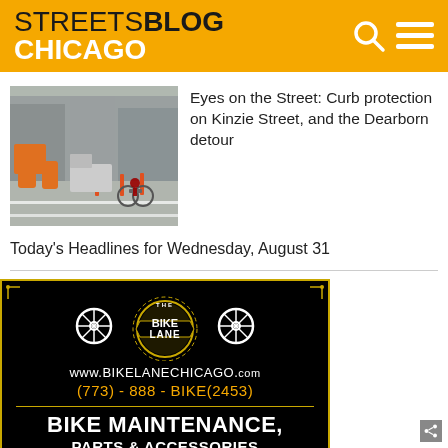STREETSBLOG CHICAGO
[Figure (photo): Street scene showing a cyclist riding in a protected bike lane on a city street with orange construction barrels and urban buildings in background.]
Eyes on the Street: Curb protection on Kinzie Street, and the Dearborn detour
Today's Headlines for Wednesday, August 31
[Figure (other): Advertisement for The Bike Lane Chicago. Black background with gold border. Shows bicycle wheel logos, gear logo, and text: www.BIKELANECHICAGO.com, (773) - 888 - BIKE(2453), BIKE MAINTENANCE, PARTS & ACCESSORIES]